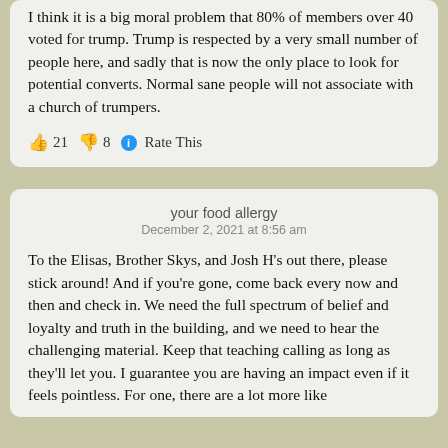I think it is a big moral problem that 80% of members over 40 voted for trump. Trump is respected by a very small number of people here, and sadly that is now the only place to look for potential converts. Normal sane people will not associate with a church of trumpers.
👍 21 👎 8 ℹ Rate This
your food allergy
December 2, 2021 at 8:56 am
To the Elisas, Brother Skys, and Josh H's out there, please stick around! And if you're gone, come back every now and then and check in. We need the full spectrum of belief and loyalty and truth in the building, and we need to hear the challenging material. Keep that teaching calling as long as they'll let you. I guarantee you are having an impact even if it feels pointless. For one, there are a lot more like